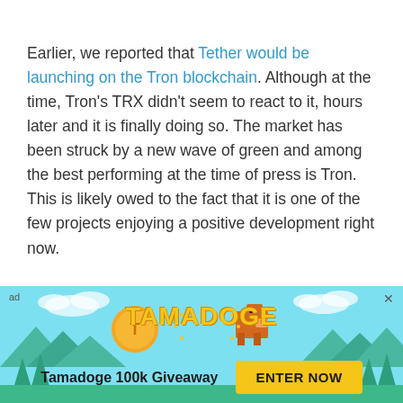Earlier, we reported that Tether would be launching on the Tron blockchain. Although at the time, Tron's TRX didn't seem to react to it, hours later and it is finally doing so. The market has been struck by a new wave of green and among the best performing at the time of press is Tron. This is likely owed to the fact that it is one of the few projects enjoying a positive development right now.
[Figure (infographic): Tamadoge advertisement banner with sky blue background, trees, clouds, Tamadoge coin logo, pixel dog character, 'TAMADOGE' text in gold, 'Tamadoge 100k Giveaway' text, and 'ENTER NOW' button]